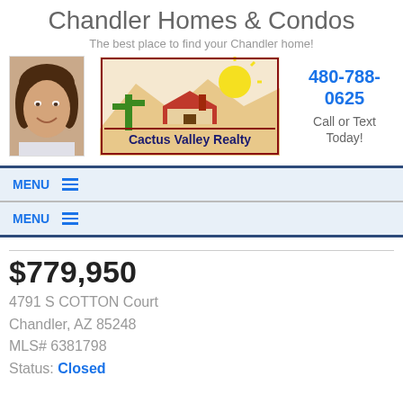Chandler Homes & Condos
The best place to find your Chandler home!
[Figure (photo): Agent headshot photo and Cactus Valley Realty logo with desert scene (mountains, cactus, house, sun)]
480-788-0625
Call or Text Today!
MENU ≡
MENU ≡
$779,950
4791 S COTTON Court
Chandler, AZ 85248
MLS# 6381798
Status: Closed